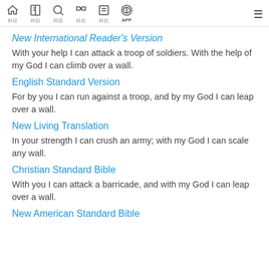Navigation bar with home, Bible, search, cross-ref, list, APP icons
New International Reader's Version
With your help I can attack a troop of soldiers. With the help of my God I can climb over a wall.
English Standard Version
For by you I can run against a troop, and by my God I can leap over a wall.
New Living Translation
In your strength I can crush an army; with my God I can scale any wall.
Christian Standard Bible
With you I can attack a barricade, and with my God I can leap over a wall.
New American Standard Bible